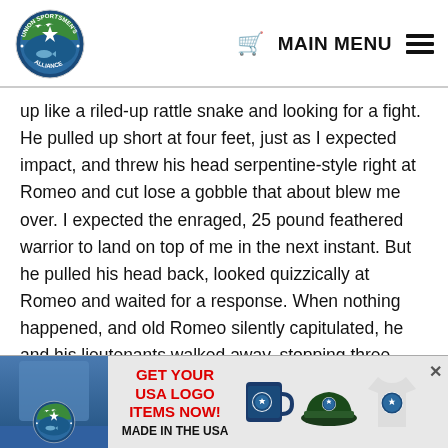Union Sportsmen's Alliance — MAIN MENU
up like a riled-up rattle snake and looking for a fight. He pulled up short at four feet, just as I expected impact, and threw his head serpentine-style right at Romeo and cut lose a gobble that about blew me over. I expected the enraged, 25 pound feathered warrior to land on top of me in the next instant. But he pulled his head back, looked quizzically at Romeo and waited for a response. When nothing happened, and old Romeo silently capitulated, he and his lieutenants walked away, stopping three times to look back.
After they disappeared, I turned to Tom, who was
[Figure (infographic): Advertisement banner for Union Sportsmen's Alliance USA logo merchandise (mugs, hats, shirts). Text reads GET YOUR USA LOGO ITEMS NOW! MADE IN THE USA]